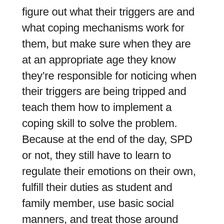figure out what their triggers are and what coping mechanisms work for them, but make sure when they are at an appropriate age they know they're responsible for noticing when their triggers are being tripped and teach them how to implement a coping skill to solve the problem. Because at the end of the day, SPD or not, they still have to learn to regulate their emotions on their own, fulfill their duties as student and family member, use basic social manners, and treat those around them with respect.
Integrated Learning Strategies is a Utah-based center dedicated to helping mainstream children and children with learning disabilities achieve academic success. Our services provide kids with non-traditional tutoring programs within the